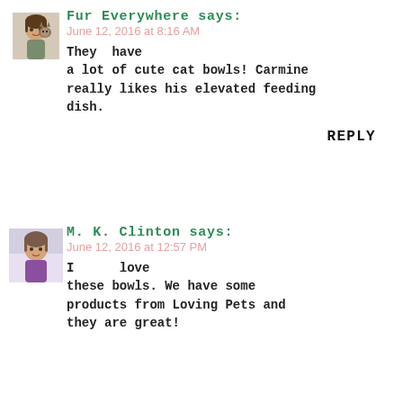Fur Everywhere says:
June 12, 2016 at 8:16 AM
They have a lot of cute cat bowls! Carmine really likes his elevated feeding dish.
REPLY
M. K. Clinton says:
June 12, 2016 at 12:57 PM
I love these bowls. We have some products from Loving Pets and they are great!